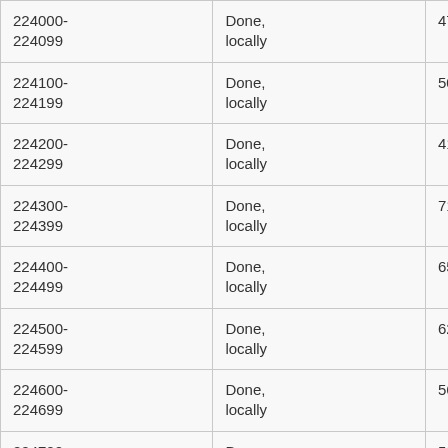| Range | Status | Count | Size |
| --- | --- | --- | --- |
| 224000-224099 | Done, locally | 47 | 480M |
| 224100-224199 | Done, locally | 50 | 4.4G |
| 224200-224299 | Done, locally | 41 | 6.7G |
| 224300-224399 | Done, locally | 71 | 2.1G |
| 224400-224499 | Done, locally | 65 | 7.7G |
| 224500-224599 | Done, locally | 62 | 9.4G |
| 224600-224699 | Done, locally | 56 | 958M |
| 224700-224799 | Done, locally | 58 | 4.0G |
| 224800-224899 | Done, locally | 57 | 5.0G |